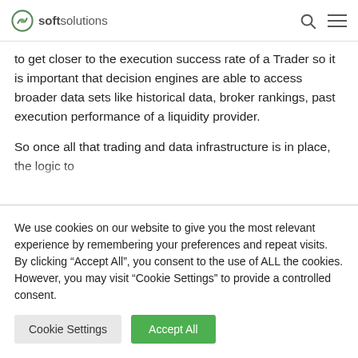soft solutions
to get closer to the execution success rate of a Trader so it is important that decision engines are able to access broader data sets like historical data, broker rankings, past execution performance of a liquidity provider.
So once all that trading and data infrastructure is in place, the logic to
We use cookies on our website to give you the most relevant experience by remembering your preferences and repeat visits. By clicking “Accept All”, you consent to the use of ALL the cookies. However, you may visit “Cookie Settings” to provide a controlled consent.